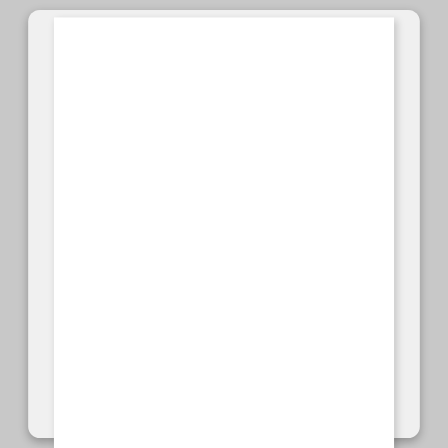[Figure (other): A white document/paper sheet shown partially, with a light gray card background and rounded corners, appearing as a UI element or app screenshot. The white paper has a subtle drop shadow.]
Carl Jones FAO: